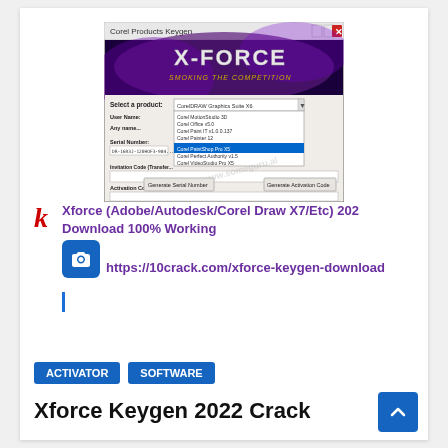[Figure (screenshot): X-Force Keygen window for Corel Products showing product dropdown, user name, serial number, invitation code, activation code fields, and Generate Serial Number / Generate Activation Code buttons]
Xforce (Adobe/Autodesk/Corel Draw X7/Etc) 2022 Download 100% Working
https://10crack.com/xforce-keygen-download
ACTIVATOR
SOFTWARE
Xforce Keygen 2022 Crack